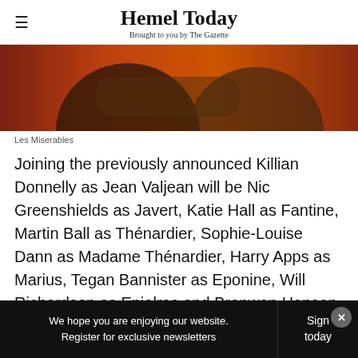Hemel Today — Brought to you by The Gazette
[Figure (photo): A photograph from Les Miserables showing two figures against a red/orange background.]
Les Miserables
Joining the previously announced Killian Donnelly as Jean Valjean will be Nic Greenshields as Javert, Katie Hall as Fantine, Martin Ball as Thénardier, Sophie-Louise Dann as Madame Thénardier, Harry Apps as Marius, Tegan Bannister as Eponine, Will Richardson as Enjolras and Bronwen Hanson as Cosette.
We hope you are enjoying our website. Register for exclusive newsletters | Sign today